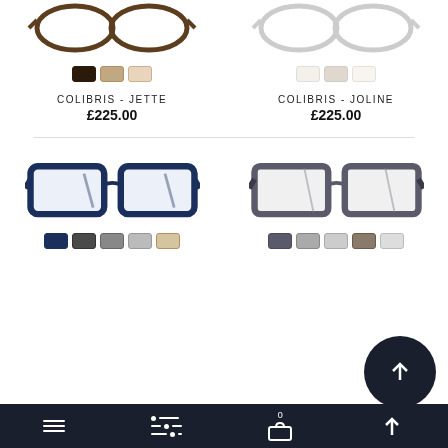[Figure (photo): Cat-eye style eyeglasses frame shown from front, dark brown/tortoise color, with 3 color swatch options below]
[Figure (photo): Cat-eye style eyeglasses frame shown from front, white/clear color, with 3 color swatch options below]
COLIBRIS - JETTE
£225.00
COLIBRIS - JOLINE
£225.00
[Figure (photo): Rectangular eyeglasses frame shown from front, navy/dark blue color]
[Figure (photo): Rectangular eyeglasses frame shown from front, grey/tortoise striped color]
Navigation bar with hamburger menu, filter icon, shopping cart with 0 items, search/up arrow button